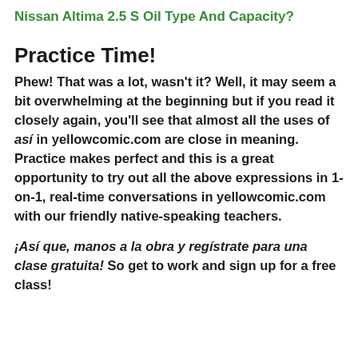Nissan Altima 2.5 S Oil Type And Capacity?
Practice Time!
Phew! That was a lot, wasn't it? Well, it may seem a bit overwhelming at the beginning but if you read it closely again, you'll see that almost all the uses of así in yellowcomic.com are close in meaning. Practice makes perfect and this is a great opportunity to try out all the above expressions in 1-on-1, real-time conversations in yellowcomic.com with our friendly native-speaking teachers.
¡Así que, manos a la obra y regístrate para una clase gratuita! So get to work and sign up for a free class!